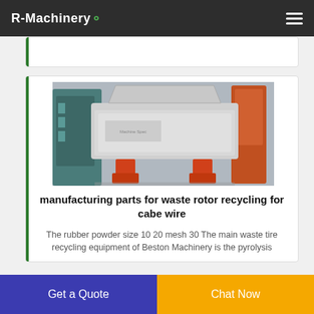R-Machinery
[Figure (photo): Industrial waste rotor recycling machine with grey body and orange support feet, inside a factory setting]
manufacturing parts for waste rotor recycling for cabe wire
The rubber powder size 10 20 mesh 30 The main waste tire recycling equipment of Beston Machinery is the pyrolysis
Get a Quote
Chat Now